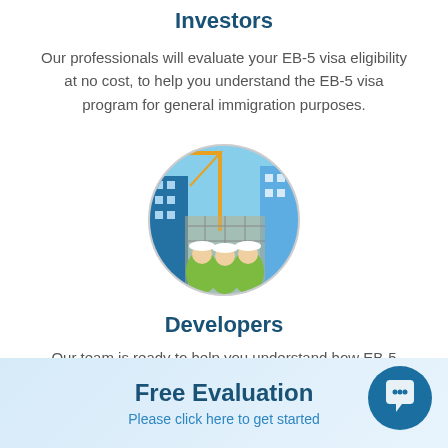Investors
Our professionals will evaluate your EB-5 visa eligibility at no cost, to help you understand the EB-5 visa program for general immigration purposes.
[Figure (photo): Circular cropped photo of construction workers wearing white and yellow hard hats and high-visibility vests, looking up at a building under construction with a crane in the background and blue sky.]
Developers
Our team is ready to help you understand how EB-5
Free Evaluation
Please click here to get started
[Figure (illustration): Dark blue circular chat/message bubble icon button in the bottom right corner.]